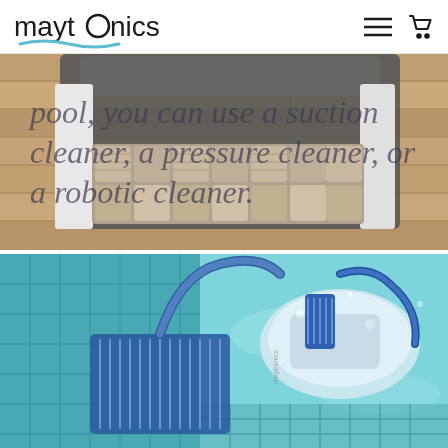maytronics
[Figure (photo): Close-up of a robotic pool cleaner brush mechanism on a wooden floor surface, with overlaid italic text reading: pool, you can use a suction cleaner, a pressure cleaner, or a robotic cleaner.]
[Figure (photo): Underwater photo of a Maytronics robotic pool cleaner operating in a tiled swimming pool, showing blue scrubbing brushes and a hose in turquoise water.]